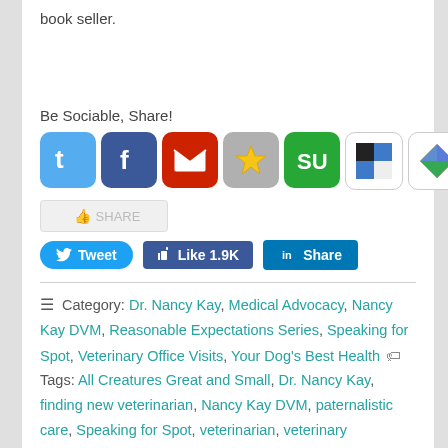book seller.
Be Sociable, Share!
[Figure (infographic): Row of 9 social media sharing icons: Twitter (blue, t), Facebook (dark blue, f), Mail (red envelope), Bookmark/Star (grey with gold star), StumbleUpon (green, SU), Delicious (black/blue/white squares), Google+ (colorful flag), LinkedIn (teal, in), Circle share (orange)]
[Figure (screenshot): Facebook Share ghost button showing thumbs up icon and SHARE text in grey]
[Figure (screenshot): Social sharing buttons: blue Tweet button, blue Facebook Like 1.9K button, blue LinkedIn Share button]
Category: Dr. Nancy Kay, Medical Advocacy, Nancy Kay DVM, Reasonable Expectations Series, Speaking for Spot, Veterinary Office Visits, Your Dog's Best Health  Tags: All Creatures Great and Small, Dr. Nancy Kay, finding new veterinarian, Nancy Kay DVM, paternalistic care, Speaking for Spot, veterinarian, veterinary professional standards,